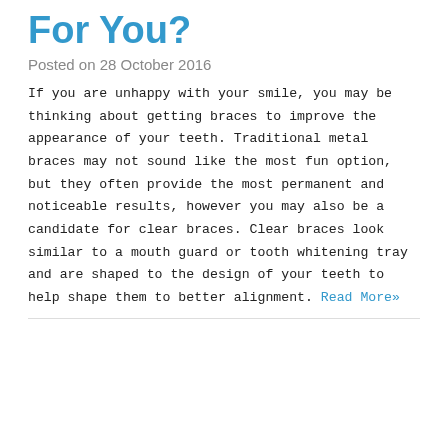For You?
Posted on 28 October 2016
If you are unhappy with your smile, you may be thinking about getting braces to improve the appearance of your teeth. Traditional metal braces may not sound like the most fun option, but they often provide the most permanent and noticeable results, however you may also be a candidate for clear braces. Clear braces look similar to a mouth guard or tooth whitening tray and are shaped to the design of your teeth to help shape them to better alignment. Read More»